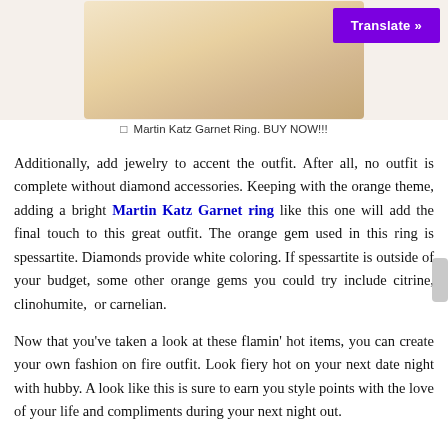[Figure (photo): Photo of Martin Katz Garnet Ring with gold and diamond setting, partially visible at top of page]
Martin Katz Garnet Ring. BUY NOW!!!
Additionally, add jewelry to accent the outfit. After all, no outfit is complete without diamond accessories. Keeping with the orange theme, adding a bright Martin Katz Garnet ring like this one will add the final touch to this great outfit. The orange gem used in this ring is spessartite. Diamonds provide white coloring. If spessartite is outside of your budget, some other orange gems you could try include citrine, clinohumite,  or carnelian.
Now that you’ve taken a look at these flamin’ hot items, you can create your own fashion on fire outfit. Look fiery hot on your next date night with hubby. A look like this is sure to earn you style points with the love of your life and compliments during your next night out.